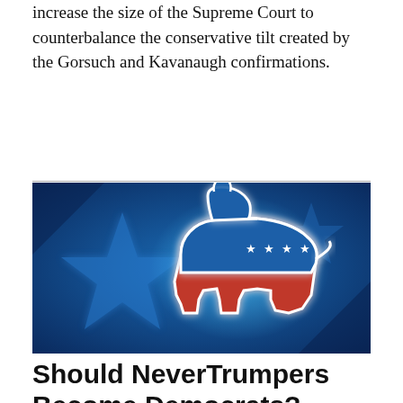increase the size of the Supreme Court to counterbalance the conservative tilt created by the Gorsuch and Kavanaugh confirmations.
[Figure (illustration): Democratic Party donkey logo — a white-outlined blue and red donkey on a deep blue background with large blue stars. The donkey has three white stars on a red-and-blue striped band across its body.]
Should NeverTrumpers Become Democrats?
JAMES JOYNER · SUNDAY, JUNE 30, 2019 · 199 COMMENTS